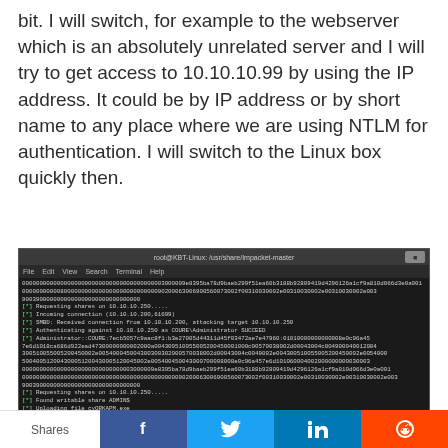bit. I will switch, for example to the webserver which is an absolutely unrelated server and I will try to get access to 10.10.10.99 by using the IP address. It could be by IP address or by short name to any place where we are using NTLM for authentication. I will switch to the Linux box quickly then.
[Figure (screenshot): Terminal window showing root@KBT-Linux:/usr/share/Impacket-master with hex data output, SMBD connection messages, authentication success against 10.10.10.250 as COURE\Administrator, file uploads (cyORKAPM.exe, JyImIgap.exe), and service creation messages for xNUP on 10.10.10.250]
Shares  f  t  in  reddit